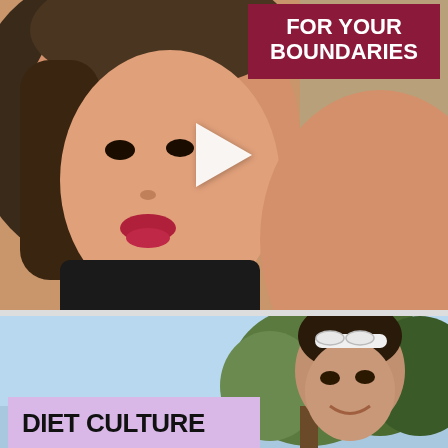[Figure (photo): Close-up selfie photo of a woman with dark hair, red lipstick, wearing a black top, with skin-toned arm visible, taken indoors against a warm beige/grey background. A dark red/maroon box in the upper right displays text 'FOR YOUR BOUNDARIES' in white bold letters. A white play button triangle is overlaid in the center.]
FOR YOUR BOUNDARIES
[Figure (photo): Outdoor photo of a woman with dark hair and white sunglasses on her head, smiling, against a background of trees and light blue sky. A lavender/pink box in the lower left displays 'DIET CULTURE' in large black bold text.]
DIET CULTURE